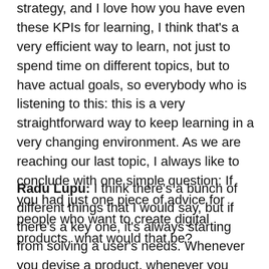strategy, and I love how you have even these KPIs for learning, I think that's a very efficient way to learn, not just to spend time on different topics, but to have actual goals, so everybody who is listening to this: this is a very straightforward way to keep learning in a very changing environment. As we are reaching our last topic, I always like to conclude with one simple question: If you had just one piece of advice for people who want to create digital products, what would that be?
Radu Lupu: I think there's a bunch of different things that I would say, but if there's a key one, it's always starting from solving a user's needs. Whenever you devise a product, whenever you devise any project, you should start from having a clear understanding of what you're trying to solve. It's very easy to fall into the trap of doing hype-driven development, for instance, using that new technology, putting blockchain in the name just so that you can attach that and then sound innovative, but